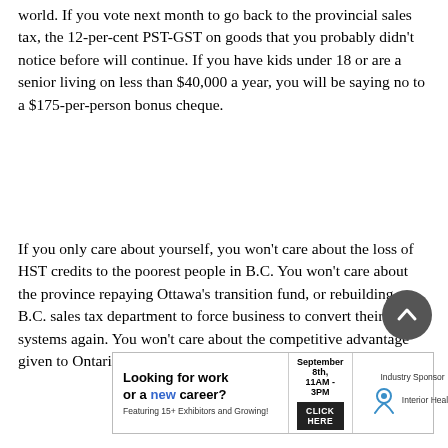world. If you vote next month to go back to the provincial sales tax, the 12-per-cent PST-GST on goods that you probably didn't notice before will continue. If you have kids under 18 or are a senior living on less than $40,000 a year, you will be saying no to a $175-per-person bonus cheque.
If you only care about yourself, you won't care about the loss of HST credits to the poorest people in B.C. You won't care about the province repaying Ottawa's transition fund, or rebuilding a B.C. sales tax department to force business to convert their billing systems again. You won't care about the competitive advantage given to Ontario, unless it costs you your job.
[Figure (other): Scroll-to-top circular button with upward chevron arrow, dark grey background]
[Figure (other): Advertisement banner: 'Looking for work or a new career? Featuring 15+ Exhibitors and Growing!' September 8th, 11AM-3PM, CLICK HERE button, Industry Sponsor: Interior Health logo]